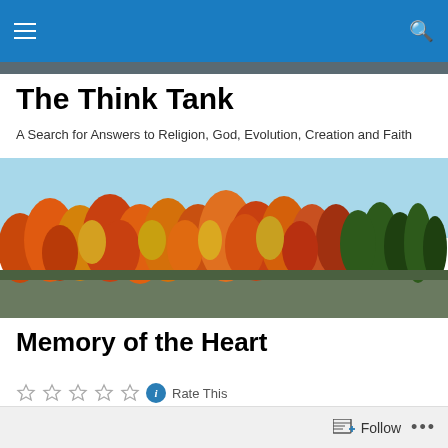Navigation bar with menu and search icons
The Think Tank
A Search for Answers to Religion, God, Evolution, Creation and Faith
[Figure (photo): Autumn forest scene with colorful orange, red, and green foliage trees against a clear blue sky, with a gray-green field in the foreground]
Memory of the Heart
Rate This
Follow ...